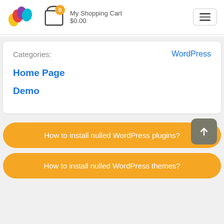[Figure (logo): Colorful W-shaped logo with yellow, pink/red, purple, and teal/cyan teardrop shapes]
My Shopping Cart
$0.00
Categories:
WordPress
Home Page
Demo
How to install nulled WordPress plugins?
How to install nulled WordPress themes?